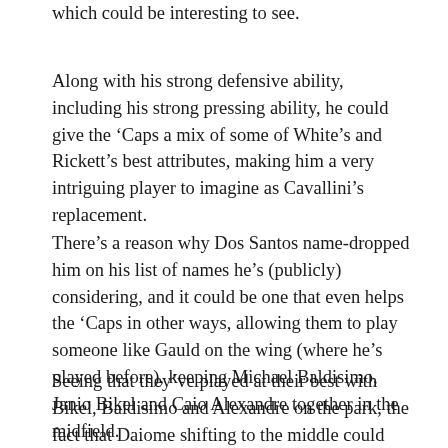which could be interesting to see.
Along with his strong defensive ability, including his strong pressing ability, he could give the 'Caps a mix of some of White's and Rickett's best attributes, making him a very intriguing player to imagine as Cavallini's replacement.
There's a reason why Dos Santos name-dropped him on his list of names he's (publicly) considering, and it could be one that even helps the 'Caps in other ways, allowing them to play someone like Gauld on the wing (where he's played before), keeping Michael Baldisimo, Janio Bikel and Caio Alexandre together in the midfield.
Seeing that they've played at their best with Bikel, Baldisimo and Alexandre on the park, the fact that Daiome shifting to the middle could keep that trio